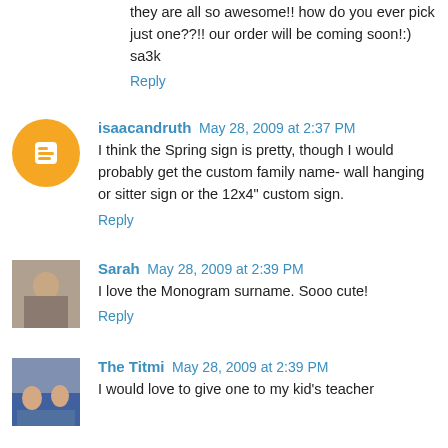they are all so awesome!! how do you ever pick just one??!! our order will be coming soon!:)
sa3k
Reply
isaacandruth  May 28, 2009 at 2:37 PM
I think the Spring sign is pretty, though I would probably get the custom family name- wall hanging or sitter sign or the 12x4" custom sign.
Reply
Sarah  May 28, 2009 at 2:39 PM
I love the Monogram surname. Sooo cute!
Reply
The Titmi  May 28, 2009 at 2:39 PM
I would love to give one to my kid's teacher